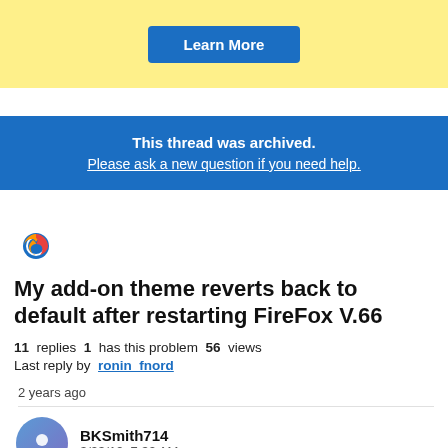[Figure (other): Yellow banner with a blue Learn More button]
This thread was archived.
Please ask a new question if you need help.
[Figure (logo): Firefox logo icon (flame around globe)]
My add-on theme reverts back to default after restarting FireFox V.66
11 replies   1 has this problem   56 views
Last reply by ronin_fnord
2 years ago
BKSmith714
3/23/19, 7:32 AM